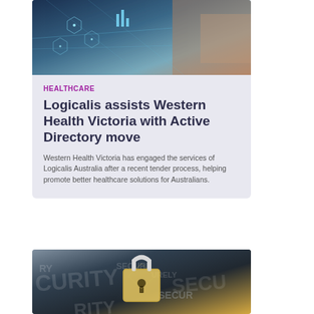[Figure (photo): Technology/digital health concept photo showing a person touching a digital interface with hexagonal overlays and data visualization elements, blue toned]
HEALTHCARE
Logicalis assists Western Health Victoria with Active Directory move
Western Health Victoria has engaged the services of Logicalis Australia after a recent tender process, helping promote better healthcare solutions for Australians.
[Figure (photo): Security concept photo showing a padlock on a dark digital background with the word SECURITY and SECURE repeated in the background]